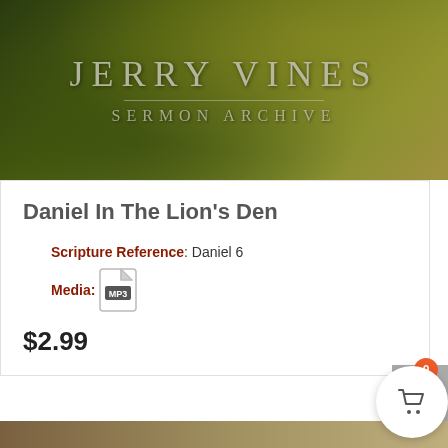[Figure (photo): Header banner image with dark olive/green grass background. 'JERRY VINES' text in large serif letters and 'SERMON ARCHIVE' below in spaced letters, forming the site logo/banner.]
Daniel In The Lion’s Den
Scripture Reference: Daniel 6
Media: [MP3 icon]
$2.99
[Figure (photo): Partial bottom image showing a sunset/dusk sky with silhouette of a palm tree on the left side.]